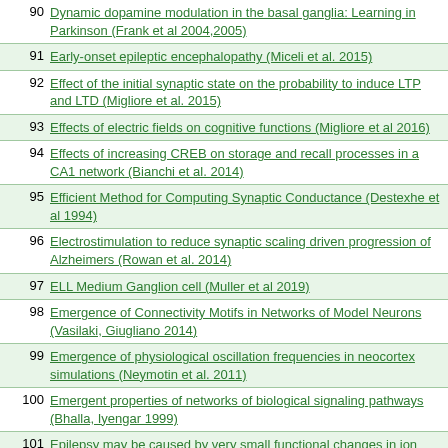| # | Title |
| --- | --- |
| 90 | Dynamic dopamine modulation in the basal ganglia: Learning in Parkinson (Frank et al 2004,2005) |
| 91 | Early-onset epileptic encephalopathy (Miceli et al. 2015) |
| 92 | Effect of the initial synaptic state on the probability to induce LTP and LTD (Migliore et al. 2015) |
| 93 | Effects of electric fields on cognitive functions (Migliore et al 2016) |
| 94 | Effects of increasing CREB on storage and recall processes in a CA1 network (Bianchi et al. 2014) |
| 95 | Efficient Method for Computing Synaptic Conductance (Destexhe et al 1994) |
| 96 | Electrostimulation to reduce synaptic scaling driven progression of Alzheimers (Rowan et al. 2014) |
| 97 | ELL Medium Ganglion cell (Muller et al 2019) |
| 98 | Emergence of Connectivity Motifs in Networks of Model Neurons (Vasilaki, Giugliano 2014) |
| 99 | Emergence of physiological oscillation frequencies in neocortex simulations (Neymotin et al. 2011) |
| 100 | Emergent properties of networks of biological signaling pathways (Bhalla, Iyengar 1999) |
| 101 | Epilepsy may be caused by very small functional changes in ion channels (Thomas et al. 2009) |
| 102 | Excitability of DA neurons and their regulation by synaptic input (Morozova et al. 2016a, 2016b) |
| 103 | Excitatory synaptic interactions in pyramidal neuron dendrites (Poirazi et al. 2003) |